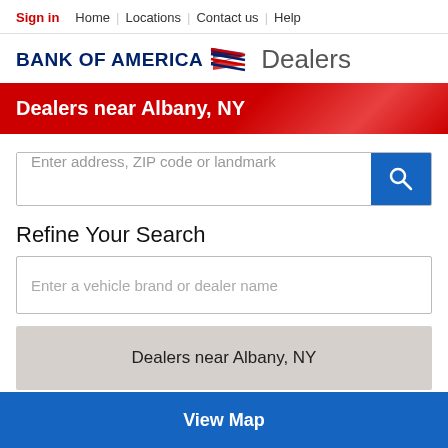Sign in | Home | Locations | Contact us | Help
[Figure (logo): Bank of America logo with flag icon, followed by 'Dealers' text]
Dealers near Albany, NY
Enter address, ZIP code or landmark
Refine Your Search
Enter a vehicle brand or dealer name
Dealers near Albany, NY
View Map